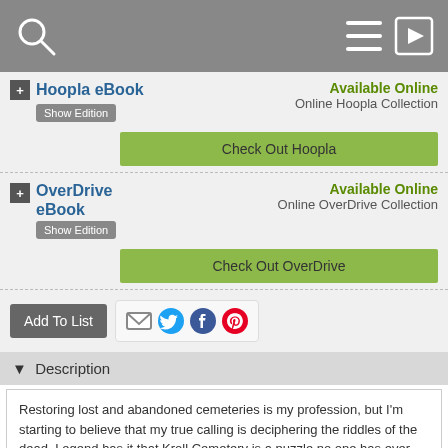[Figure (screenshot): Library catalog app top navigation bar with search icon, hamburger menu, and login arrow icon on gray background]
+ Hoopla eBook
Available Online
Online Hoopla Collection
Show Edition
Check Out Hoopla
+ OverDrive eBook
Available Online
Online OverDrive Collection
Show Edition
Check Out OverDrive
Add To List
[Figure (infographic): Social sharing icons: email, Twitter, Facebook, Pinterest]
▼  Description
Restoring lost and abandoned cemeteries is my profession, but I'm starting to believe that my true calling is deciphering the riddles of the dead. Legend has it that Kroll Cemetery is a puzzle no one has ever been able to solve. For over half a century, the answer has remained hidden within the strange headstone inscriptions and intricate engravings. Because uncovering the mystery of that tiny, remote graveyard may come at a terrible price.